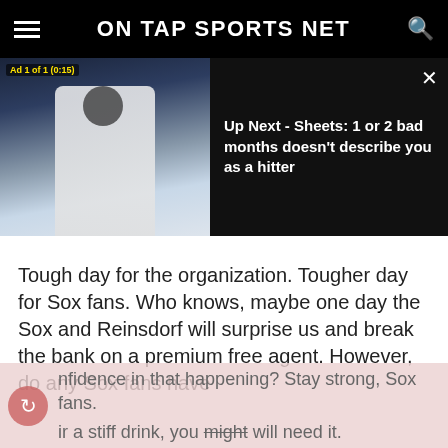ON TAP SPORTS NET
[Figure (screenshot): Video player ad showing baseball player wearing #32 White Sox uniform. Ad label reads 'Ad 1 of 1 (0:15)'. Up next title: 'Up Next - Sheets: 1 or 2 bad months doesn't describe you as a hitter']
Tough day for the organization. Tougher day for Sox fans. Who knows, maybe one day the Sox and Reinsdorf will surprise us and break the bank on a premium free agent. However, do any Sox fans have confidence in that happening? Stay strong, Sox fans. ir a stiff drink, you might will need it.